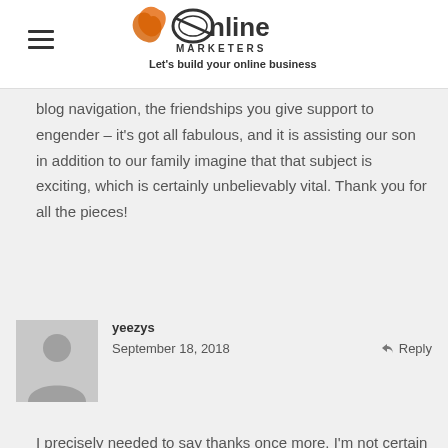[Figure (logo): JR Online Marketers logo with tagline 'Let's build your online business']
blog navigation, the friendships you give support to engender – it's got all fabulous, and it is assisting our son in addition to our family imagine that that subject is exciting, which is certainly unbelievably vital. Thank you for all the pieces!
yeezys
September 18, 2018
Reply
I precisely needed to say thanks once more. I'm not certain what I would have handled